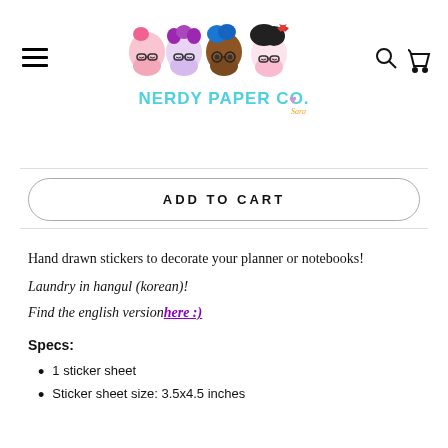[Figure (logo): Nerdy Paper Co. logo with cartoon illustrated characters wearing glasses and the brand name in teal bubble letters]
ADD TO CART
Hand drawn stickers to decorate your planner or notebooks!
Laundry in hangul (korean)!
Find the english version here :)
Specs:
1 sticker sheet
Sticker sheet size: 3.5x4.5 inches